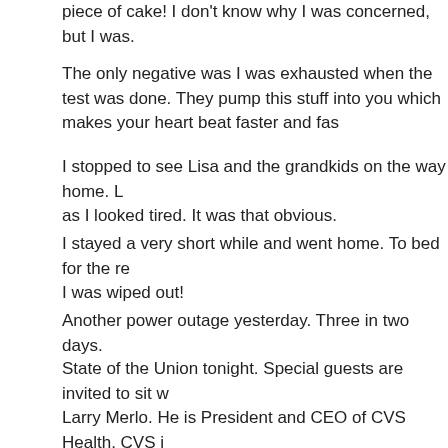piece of cake! I don't know why I was concerned, but I was.
The only negative was I was exhausted when the test was done. They pump this stuff into you which makes your heart beat faster and fa…
I stopped to see Lisa and the grandkids on the way home. L… as I looked tired. It was that obvious.
I stayed a very short while and went home. To bed for the re… I was wiped out!
Another power outage yesterday. Three in two days.
State of the Union tonight. Special guests are invited to sit w… Larry Merlo. He is President and CEO of CVS Health. CVS i… have 4 stores open and operating. Working on a fifth. In the … on Duval.
Merlo has to have accomplished something significant. I did…